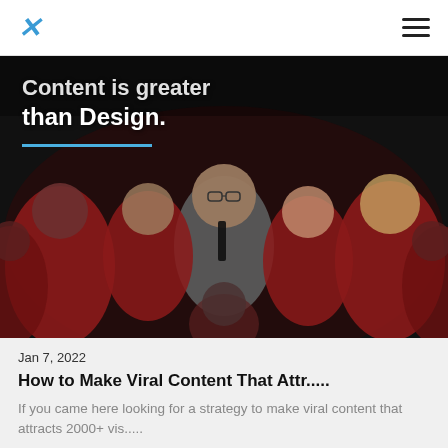X (logo) and hamburger menu navigation bar
[Figure (photo): Dark cinematic hero image of a group of people in red suits and costumes surrounding a man in a grey suit with glasses looking up at the camera, reminiscent of a TV show cast. Overlaid white bold text reads 'Content is greater than Design.' with a blue underline beneath it.]
Jan 7, 2022
How to Make Viral Content That Attr.....
If you came here looking for a strategy to make viral content that attracts 2000+ vis.....